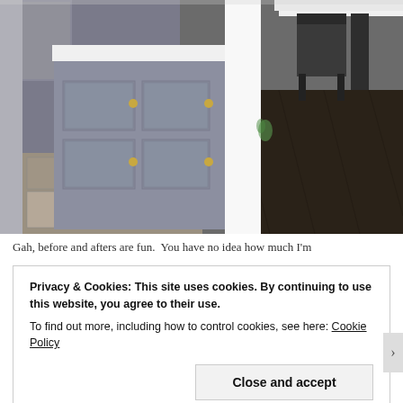[Figure (photo): Interior kitchen photo showing a gray kitchen island with gold drawer pulls and white countertop on the left, a white structural column in the middle, and a dark hardwood floor with a dark chair and white dining table on the right. The kitchen floor has slate/stone tile.]
Gah, before and afters are fun.  You have no idea how much I'm
Privacy & Cookies: This site uses cookies. By continuing to use this website, you agree to their use.
To find out more, including how to control cookies, see here: Cookie Policy
Close and accept